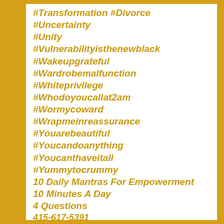#Transformation #Divorce
#Uncertainty
#Unity
#Vulnerabilityisthenewblack
#Wakeupgrateful
#Wardrobemalfunction
#Whiteprivilege
#Whodoyoucallat2am
#Wormycoward
#Wrapmeinreassurance
#Youarebeautiful
#Youcandoanything
#Youcanthaveitall
#Yummytocrummy
10 Daily Mantras For Empowerment
10 Minutes A Day
4 Questions
415-617-5391